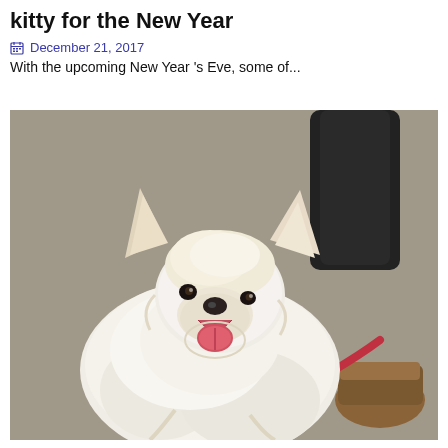kitty for the New Year
December 21, 2017
With the upcoming New Year 's Eve, some of...
[Figure (photo): A fluffy white small dog with mouth open and tongue out, on a red leash, with a person in dark pants and brown boots visible in the background.]